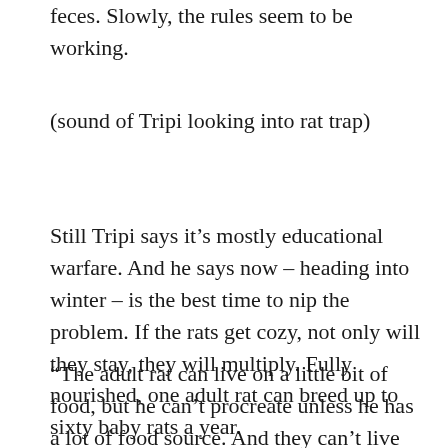feces. Slowly, the rules seem to be working.
(sound of Tripi looking into rat trap)
Still Tripi says it's mostly educational warfare. And he says now – heading into winter – is the best time to nip the problem. If the rats get cozy, not only will they stay, they will multiply. Fully nourished, one adult rat can breed up to sixty baby rats a year.
“The adult rat can live on a little bit of food, but he can’t procreate unless he has a lot of food source. And they can’t live through the